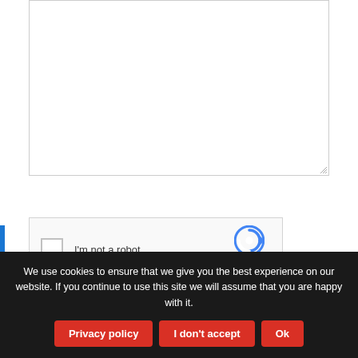[Figure (screenshot): A text area input box with a resize handle in the bottom-right corner]
[Figure (screenshot): reCAPTCHA widget with checkbox labeled 'I'm not a robot' and reCAPTCHA logo with Privacy and Terms links]
We use cookies to ensure that we give you the best experience on our website. If you continue to use this site we will assume that you are happy with it.
Privacy policy
I don't accept
Ok